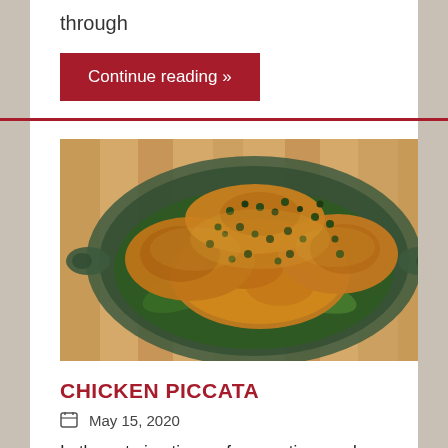through
Continue reading »
[Figure (photo): A ceramic serving dish filled with golden-brown cooked chicken piccata topped with capers and a glossy sauce, resting on a bed of dark green spinach leaves, placed on a wooden surface.]
CHICKEN PICCATA
May 15, 2020
In these trying times of quarantine, work-from-